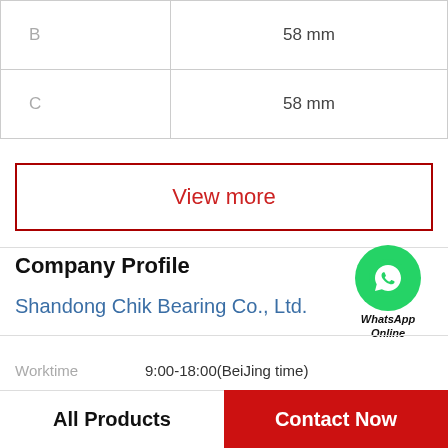|  |  |
| --- | --- |
| B | 58 mm |
| C | 58 mm |
View more
Company Profile
Shandong Chik Bearing Co., Ltd.
Worktime   9:00-18:00(BeiJing time)
Phone   86-13563849567
All Products
Contact Now